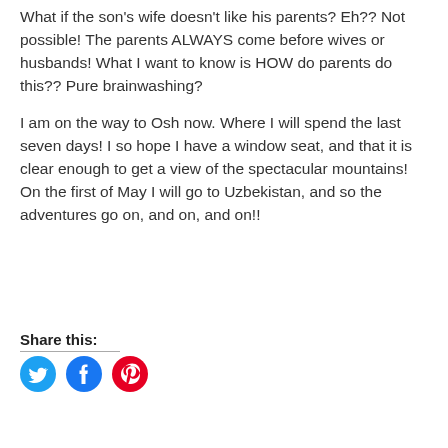What if the son's wife doesn't like his parents? Eh?? Not possible! The parents ALWAYS come before wives or husbands! What I want to know is HOW do parents do this?? Pure brainwashing?
I am on the way to Osh now. Where I will spend the last seven days! I so hope I have a window seat, and that it is clear enough to get a view of the spectacular mountains! On the first of May I will go to Uzbekistan, and so the adventures go on, and on, and on!!
Share this: